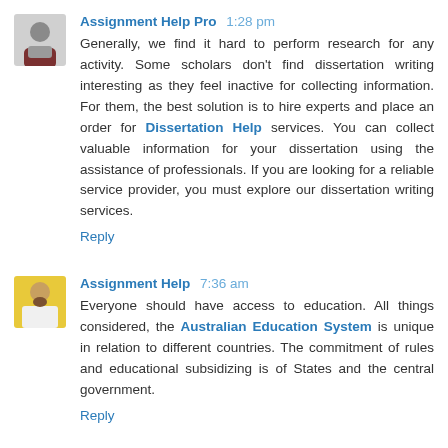Assignment Help Pro 1:28 pm
Generally, we find it hard to perform research for any activity. Some scholars don't find dissertation writing interesting as they feel inactive for collecting information. For them, the best solution is to hire experts and place an order for Dissertation Help services. You can collect valuable information for your dissertation using the assistance of professionals. If you are looking for a reliable service provider, you must explore our dissertation writing services.
Reply
Assignment Help 7:36 am
Everyone should have access to education. All things considered, the Australian Education System is unique in relation to different countries. The commitment of rules and educational subsidizing is of States and the central government.
Reply